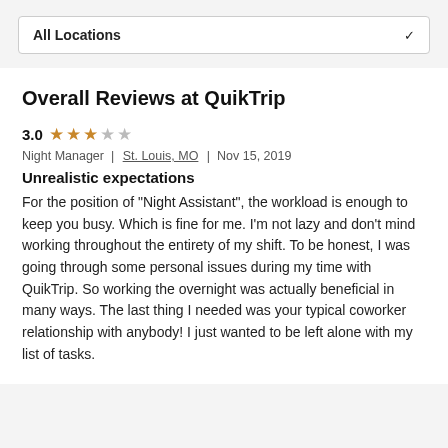All Locations
Overall Reviews at QuikTrip
3.0 ★★★☆☆ Night Manager | St. Louis, MO | Nov 15, 2019
Unrealistic expectations
For the position of "Night Assistant", the workload is enough to keep you busy. Which is fine for me. I'm not lazy and don't mind working throughout the entirety of my shift. To be honest, I was going through some personal issues during my time with QuikTrip. So working the overnight was actually beneficial in many ways. The last thing I needed was your typical coworker relationship with anybody! I just wanted to be left alone with my list of tasks.